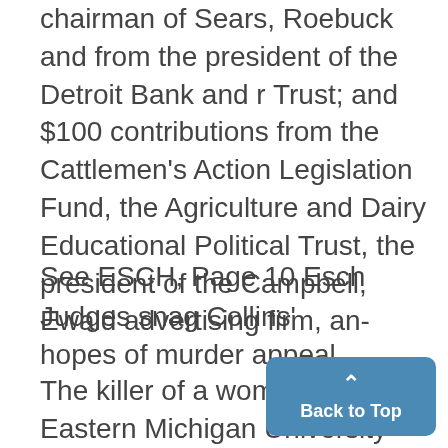chairman of Sears, Roebuck and from the president of the Detroit Bank and r Trust; and $100 contributions from the Cattlemen's Action Legislation Fund, the Agriculture and Dairy Educational Political Trust, the president of the Campbell, Ewald advertising firm, an-
See ESCH, Page 10 Esch
Judges snag Collins' hopes of murder appeal
The killer of a woman st'dent at Eastern Michigan University has failed in his legal battle to d 1970 first-degree
Back to Top